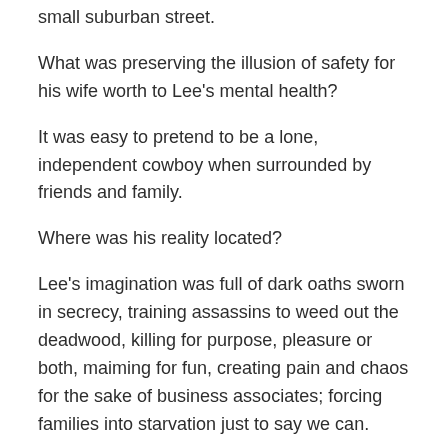small suburban street.
What was preserving the illusion of safety for his wife worth to Lee's mental health?
It was easy to pretend to be a lone, independent cowboy when surrounded by friends and family.
Where was his reality located?
Lee's imagination was full of dark oaths sworn in secrecy, training assassins to weed out the deadwood, killing for purpose, pleasure or both, maiming for fun, creating pain and chaos for the sake of business associates; forcing families into starvation just to say we can.
But it wasn't just his imagination at work.
He created false walls, barriers of plausible deniability that